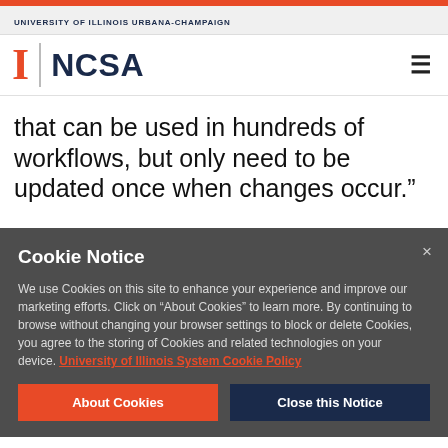UNIVERSITY OF ILLINOIS URBANA-CHAMPAIGN
[Figure (logo): University of Illinois block I logo and NCSA wordmark logo]
that can be used in hundreds of workflows, but only need to be updated once when changes occur."
Cookie Notice
We use Cookies on this site to enhance your experience and improve our marketing efforts. Click on “About Cookies” to learn more. By continuing to browse without changing your browser settings to block or delete Cookies, you agree to the storing of Cookies and related technologies on your device. University of Illinois System Cookie Policy
About Cookies
Close this Notice